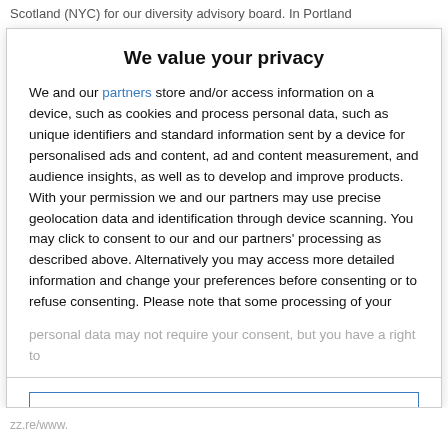Scotland (NYC) for our diversity advisory board. Portland...
We value your privacy
We and our partners store and/or access information on a device, such as cookies and process personal data, such as unique identifiers and standard information sent by a device for personalised ads and content, ad and content measurement, and audience insights, as well as to develop and improve products. With your permission we and our partners may use precise geolocation data and identification through device scanning. You may click to consent to our and our partners' processing as described above. Alternatively you may access more detailed information and change your preferences before consenting or to refuse consenting. Please note that some processing of your personal data may not require your consent, but you have a right to
AGREE
MORE OPTIONS
zz.re/www.